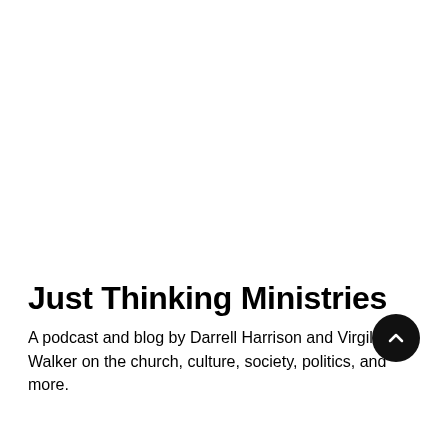Just Thinking Ministries
A podcast and blog by Darrell Harrison and Virgil Walker on the church, culture, society, politics, and more.
[Figure (other): Dark circular scroll-to-top button with upward chevron arrow icon, positioned at bottom right]